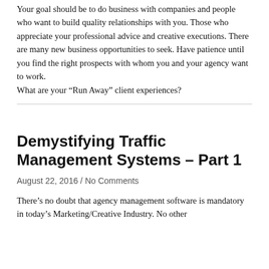Your goal should be to do business with companies and people who want to build quality relationships with you. Those who appreciate your professional advice and creative executions. There are many new business opportunities to seek. Have patience until you find the right prospects with whom you and your agency want to work.
What are your “Run Away” client experiences?
Demystifying Traffic Management Systems – Part 1
August 22, 2016 / No Comments
There’s no doubt that agency management software is mandatory in today’s Marketing/Creative Industry. No other